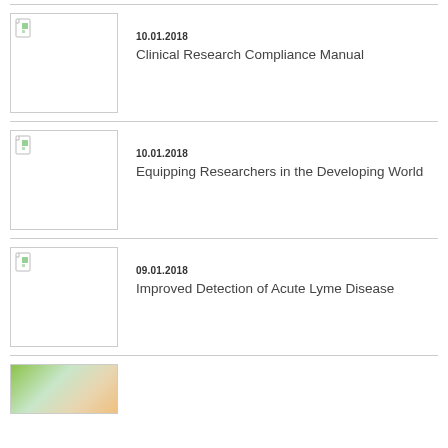[Figure (other): Thumbnail image placeholder for Clinical Research Compliance Manual]
10.01.2018
Clinical Research Compliance Manual
[Figure (other): Thumbnail image placeholder for Equipping Researchers in the Developing World]
10.01.2018
Equipping Researchers in the Developing World
[Figure (other): Thumbnail image placeholder for Improved Detection of Acute Lyme Disease]
09.01.2018
Improved Detection of Acute Lyme Disease
[Figure (photo): Partial thumbnail image at bottom of page]